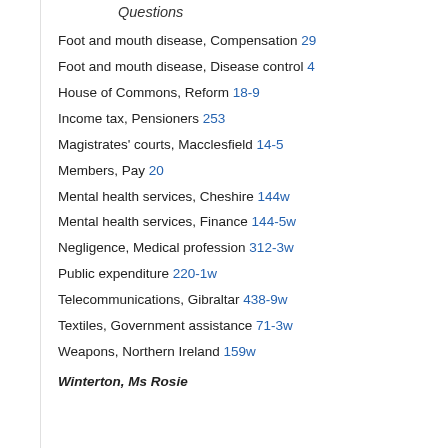Questions
Foot and mouth disease, Compensation 29
Foot and mouth disease, Disease control 4
House of Commons, Reform 18-9
Income tax, Pensioners 253
Magistrates' courts, Macclesfield 14-5
Members, Pay 20
Mental health services, Cheshire 144w
Mental health services, Finance 144-5w
Negligence, Medical profession 312-3w
Public expenditure 220-1w
Telecommunications, Gibraltar 438-9w
Textiles, Government assistance 71-3w
Weapons, Northern Ireland 159w
Winterton, Ms Rosie